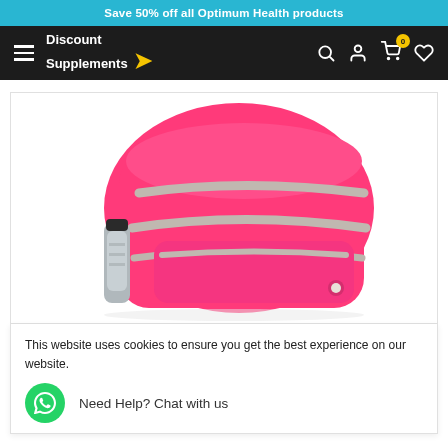Save 50% off all Optimum Health products
[Figure (logo): Discount Supplements logo with hamburger menu and nav icons (search, account, cart with 0 badge, wishlist)]
[Figure (photo): Pink/hot pink backpack with silver/grey zipper trim and a silver water bottle in side pocket, shown on white background. Partial bottom view of another pink item visible below cookie bar.]
This website uses cookies to ensure you get the best experience on our website.
Need Help? Chat with us